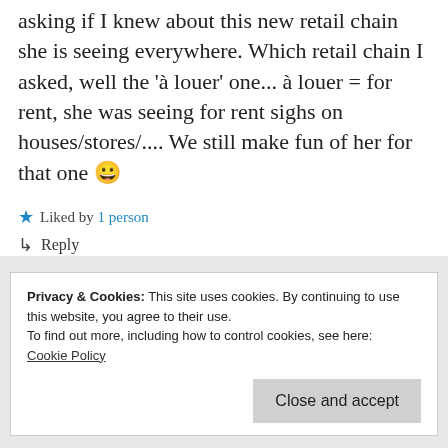asking if I knew about this new retail chain she is seeing everywhere. Which retail chain I asked, well the 'à louer' one... à louer = for rent, she was seeing for rent sighs on houses/stores/.... We still make fun of her for that one 😀
★ Liked by 1 person
↳ Reply
Privacy & Cookies: This site uses cookies. By continuing to use this website, you agree to their use.
To find out more, including how to control cookies, see here:
Cookie Policy
Close and accept
That is hilarious!!!